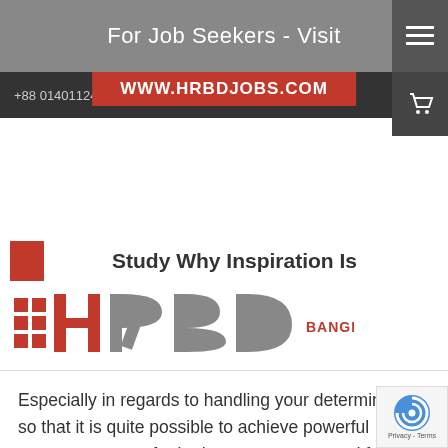For Job Seekers - Visit
+88 01401124310   info@hrbangladesh.com.bd
WWW.HRBDJOBS.COM
[Figure (logo): HRD Bangladesh logo with red squares and gray/red lettering]
Especially in regards to handling your determination so that it is quite possible to achieve powerful outcomes meant for both your company and for yourself. Thus, you have to...
READ THE REST
01
0 COMMENT